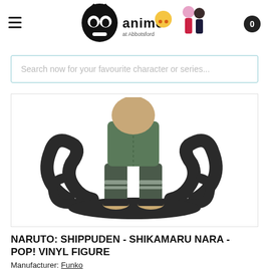[Figure (logo): Anime at Abbotsford store logo with hamburger menu icon on left and cart icon (0) on right. Logo features stylized robot/character head with crown, text 'anime at Abbotsford', Pikachu and anime figures in background.]
Search now for your favourite character or series...
[Figure (photo): Funko Pop vinyl figure of Shikamaru Nara from Naruto Shippuden, showing lower body with dark shadow tentacles base, green jacket and dark pants with bandages, sandals.]
NARUTO: SHIPPUDEN - SHIKAMARU NARA - POP! VINYL FIGURE
Manufacturer: Funko